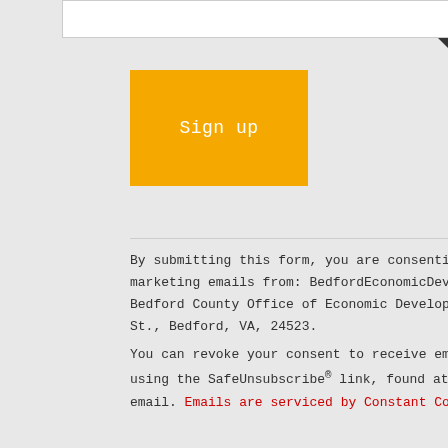[Figure (other): Input text field (white rectangle) for email signup form]
[Figure (other): Yellow 'Sign up' button]
By submitting this form, you are consenting to receive marketing emails from: BedfordEconomicDevelopment.com Bedford County Office of Economic Development, 122 E. Main St., Bedford, VA, 24523.
You can revoke your consent to receive emails at any time by using the SafeUnsubscribe® link, found at the bottom of every email. Emails are serviced by Constant Contact